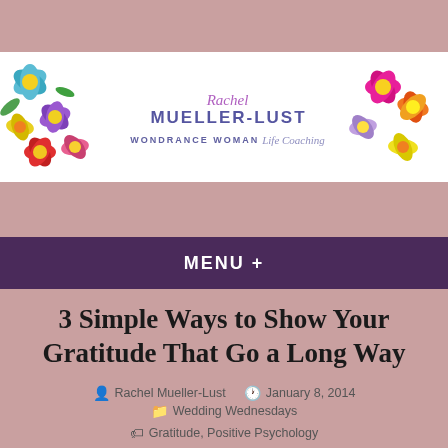[Figure (logo): Rachel Mueller-Lust Wondrance Woman Life Coaching logo with colorful flowers on left and right, purple and pink text in center on white background]
MENU +
3 Simple Ways to Show Your Gratitude That Go a Long Way
Rachel Mueller-Lust  January 8, 2014  Wedding Wednesdays  Gratitude, Positive Psychology